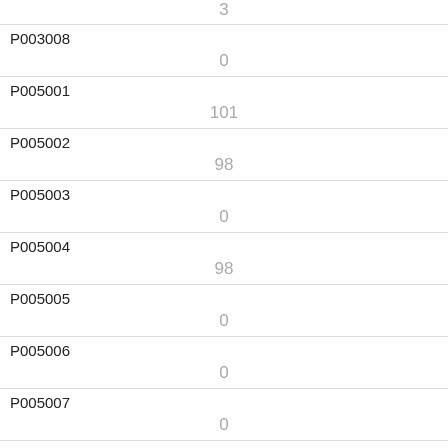| Code | Value |
| --- | --- |
| (top) | 3 |
| P003008 | 0 |
| P005001 | 101 |
| P005002 | 98 |
| P005003 | 0 |
| P005004 | 98 |
| P005005 | 0 |
| P005006 | 0 |
| P005007 | 0 |
| P005008 | 0 |
| P005009 | 0 |